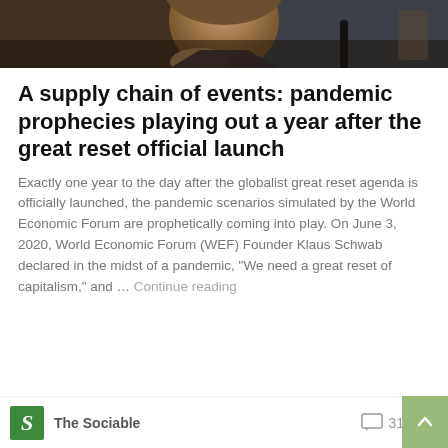[Figure (photo): Partial photo of an older man (appears to be Klaus Schwab) with hand near chin, dark background]
A supply chain of events: pandemic prophecies playing out a year after the great reset official launch
Exactly one year to the day after the globalist great reset agenda is officially launched, the pandemic scenarios simulated by the World Economic Forum are prophetically coming into play. On June 3, 2020, World Economic Forum (WEF) Founder Klaus Schwab declared in the midst of a pandemic, "We need a great reset of capitalism," and … Continue reading
The Sociable  31